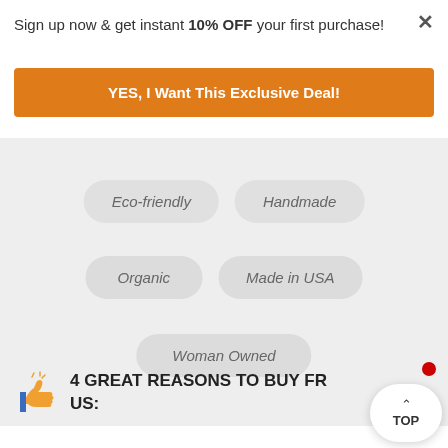×
Sign up now & get instant 10% OFF your first purchase!
YES, I Want This Exclusive Deal!
[Figure (infographic): Tag pills showing: Eco-friendly, Handmade, Organic, Made in USA, Woman Owned]
4 GREAT REASONS TO BUY FROM US: